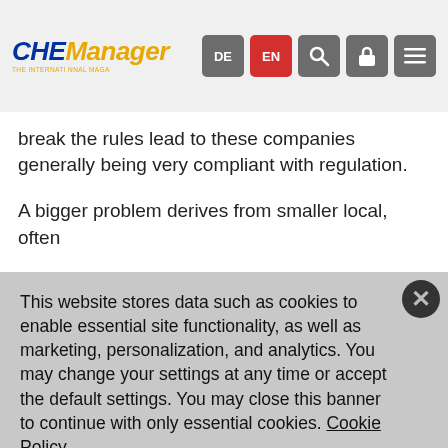CHEManager — navigation bar with DE, EN, search, lock, menu buttons
break the rules lead to these companies generally being very compliant with regulation.
A bigger problem derives from smaller local, often
This website stores data such as cookies to enable essential site functionality, as well as marketing, personalization, and analytics. You may change your settings at any time or accept the default settings. You may close this banner to continue with only essential cookies. Cookie Policy
Manage Preferences
Accept All
Reject All